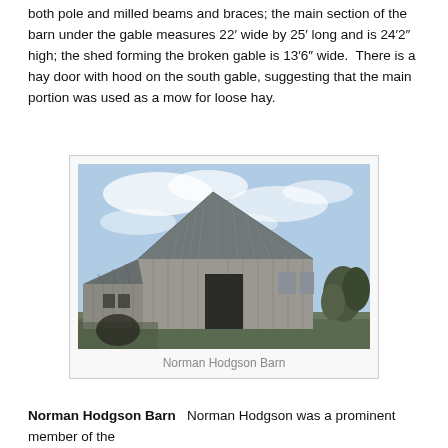both pole and milled beams and braces; the main section of the barn under the gable measures 22' wide by 25' long and is 24'2" high; the shed forming the broken gable is 13'6" wide.  There is a hay door with hood on the south gable, suggesting that the main portion was used as a mow for loose hay.
[Figure (photo): Photograph of the Norman Hodgson Barn, showing a large wooden barn with a metal roof and broken gable design, set against a partly cloudy sky.]
Norman Hodgson Barn
Norman Hodgson Barn  Norman Hodgson was a prominent member of the